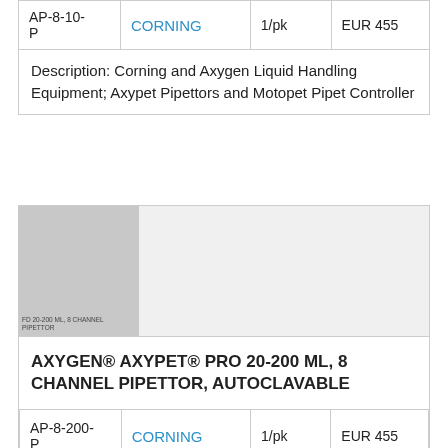|  |  |  |  |
| --- | --- | --- | --- |
| AP-8-10-P | CORNING | 1/pk | EUR 455 |
| Description: Corning and Axygen Liquid Handling Equipment; Axypet Pipettors and Motopet Pipet Controller |  |  |  |
[Figure (photo): Photo placeholder of FD 20-200 ML, 8 CHANNEL PIPETTOR product image, gray rectangle]
AXYGEN® AXYPET® PRO 20-200 ML, 8 CHANNEL PIPETTOR, AUTOCLAVABLE
|  |  |  |  |
| --- | --- | --- | --- |
| AP-8-200-P | CORNING | 1/pk | EUR 455 |